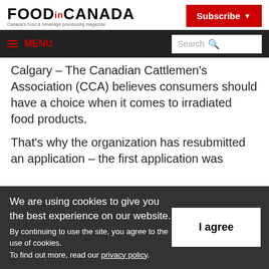FOOD.IN.CANADA — Canada's food & beverage processing magazine
≡ MENU | Search
Calgary – The Canadian Cattlemen's Association (CCA) believes consumers should have a choice when it comes to irradiated food products.
That's why the organization has resubmitted an application – the first application was
We are using cookies to give you the best experience on our website. By continuing to use the site, you agree to the use of cookies. To find out more, read our privacy policy.